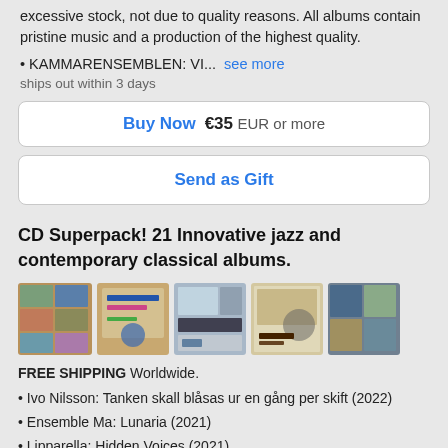excessive stock, not due to quality reasons. All albums contain pristine music and a production of the highest quality.
• KAMMARENSEMBLEN: VI...  see more
ships out within 3 days
Buy Now  €35 EUR or more
Send as Gift
CD Superpack! 21 Innovative jazz and contemporary classical albums.
[Figure (photo): Five album cover images displayed in a row showing CD superpack contents]
FREE SHIPPING Worldwide.
• Ivo Nilsson: Tanken skall blåsas ur en gång per skift (2022)
• Ensemble Ma: Lunaria (2021)
• Lipparella: Hidden Voices (2021)
• Sören Hermansson: Horn...  see more